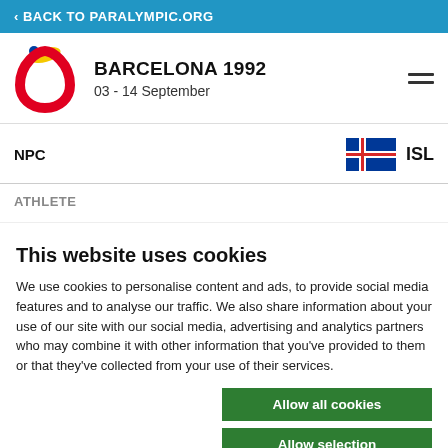< BACK TO PARALYMPIC.ORG
BARCELONA 1992
03 - 14 September
NPC
ISL
ATHLETE
This website uses cookies
We use cookies to personalise content and ads, to provide social media features and to analyse our traffic. We also share information about your use of our site with our social media, advertising and analytics partners who may combine it with other information that you've provided to them or that they've collected from your use of their services.
Allow all cookies
Allow selection
Use necessary cookies o
essary   Preferences   Statistics   Show details
Marketing